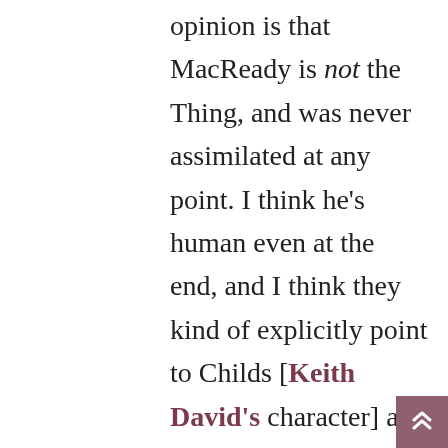opinion is that MacReady is not the Thing, and was never assimilated at any point. I think he's human even at the end, and I think they kind of explicitly point to Childs [Keith David's character] as being infected, though that is a debate that will rage for the ages. But when you compare it to political beliefs and a change in one's interaction with sociopolitical issues over time, one of the reasons why I feel so confident in MacReady not being the Thing is that he always has an analytical view of the situation, and he is very smart in how he interacts with the potential for infection and the potential for getting turned into the Thing. I see MacReady as a